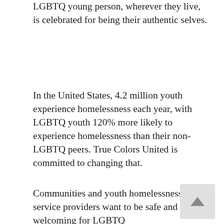LGBTQ young person, wherever they live, is celebrated for being their authentic selves.
In the United States, 4.2 million youth experience homelessness each year, with LGBTQ youth 120% more likely to experience homelessness than their non-LGBTQ peers. True Colors United is committed to changing that.
Communities and youth homelessness service providers want to be safe and welcoming for LGBTQ